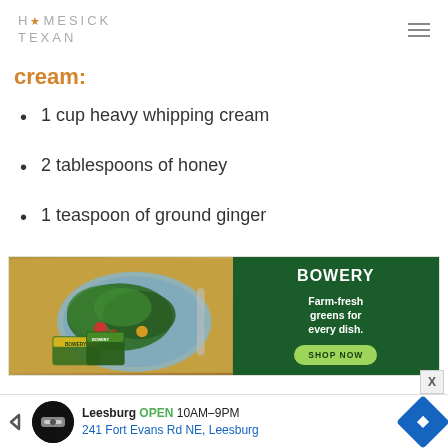HOMESICK TEXAN
cream:
1 cup heavy whipping cream
2 tablespoons of honey
1 teaspoon of ground ginger
[Figure (photo): Bowery advertisement showing a salad plate on the left and green branded background on the right with text: BOWERY Farm-fresh greens for every dish. SHOP NOW]
[Figure (infographic): Bottom banner advertisement: Leesburg OPEN 10AM-9PM 241 Fort Evans Rd NE, Leesburg with navigation arrow icon]